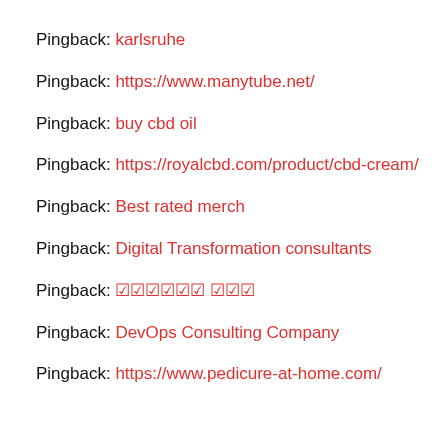Pingback: karlsruhe
Pingback: https://www.manytube.net/
Pingback: buy cbd oil
Pingback: https://royalcbd.com/product/cbd-cream/
Pingback: Best rated merch
Pingback: Digital Transformation consultants
Pingback: ???????????? ?????????
Pingback: DevOps Consulting Company
Pingback: https://www.pedicure-at-home.com/